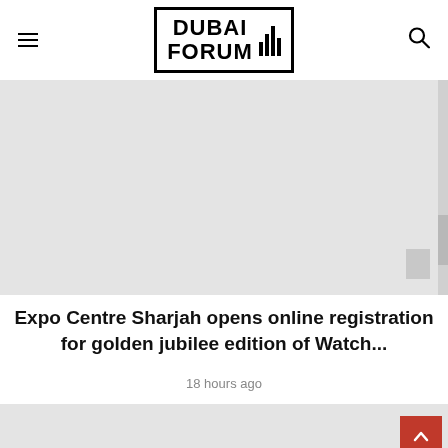DUBAI FORUM
[Figure (photo): Article thumbnail image - light gray placeholder image with scrollbar on right side]
Expo Centre Sharjah opens online registration for golden jubilee edition of Watch...
18 hours ago
[Figure (photo): Second article thumbnail image - light gray placeholder]